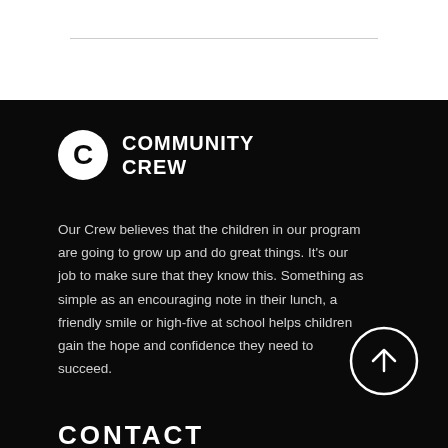[Figure (logo): Community Crew logo: white circle with bold C letter followed by COMMUNITY CREW text in white bold uppercase on black background]
Our Crew believes that the children in our program are going to grow up and do great things. It's our job to make sure that they know this. Something as simple as an encouraging note in their lunch, a friendly smile or high-five at school helps children gain the hope and confidence they need to succeed.
CONTACT